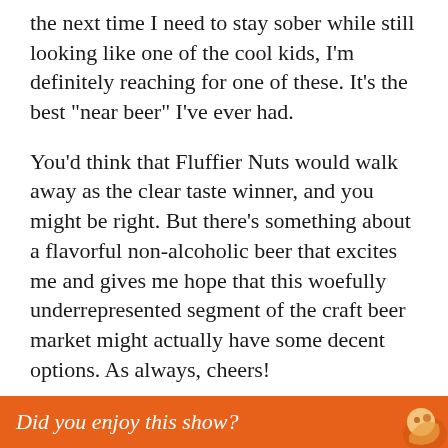the next time I need to stay sober while still looking like one of the cool kids, I'm definitely reaching for one of these. It's the best "near beer" I've ever had.
You'd think that Fluffier Nuts would walk away as the clear taste winner, and you might be right. But there's something about a flavorful non-alcoholic beer that excites me and gives me hope that this woefully underrepresented segment of the craft beer market might actually have some decent options. As always, cheers!
TAGS
DRINK
[Figure (other): Orange banner at the bottom with partial italic text in white and a small illustration on the right]